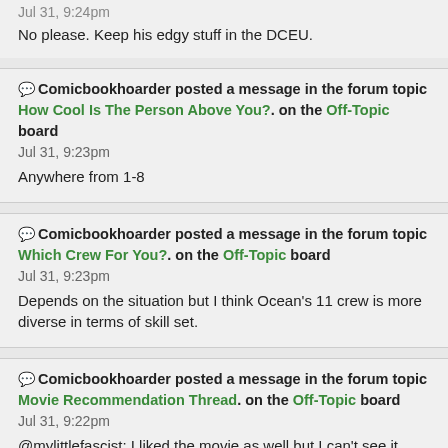Jul 31, 9:24pm
No please. Keep his edgy stuff in the DCEU.
Comicbookhoarder posted a message in the forum topic How Cool Is The Person Above You?. on the Off-Topic board
Jul 31, 9:23pm
Anywhere from 1-8
Comicbookhoarder posted a message in the forum topic Which Crew For You?. on the Off-Topic board
Jul 31, 9:23pm
Depends on the situation but I think Ocean's 11 crew is more diverse in terms of skill set.
Comicbookhoarder posted a message in the forum topic Movie Recommendation Thread. on the Off-Topic board
Jul 31, 9:22pm
@mylittlefascist: I liked the movie as well but I can't see it going any other way to be honest.